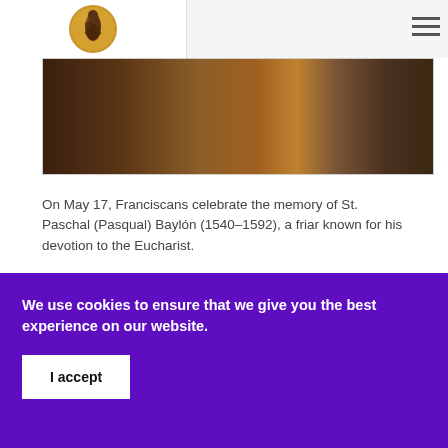[Figure (logo): Franciscan Media logo: golden globe with friar figure in brown robe]
[Figure (photo): Dark photograph showing what appears to be a religious scene or painting with earthy brown tones]
On May 17, Franciscans celebrate the memory of St. Paschal (Pasqual) Baylón (1540–1592), a friar known for his devotion to the Eucharist.
Spending long hours in prayer
Paschal was born in 1540 to a family of poor shepherds in Torrehermosa, in the province of
We use cookies to ensure that we give you the best experience on our website.
I accept